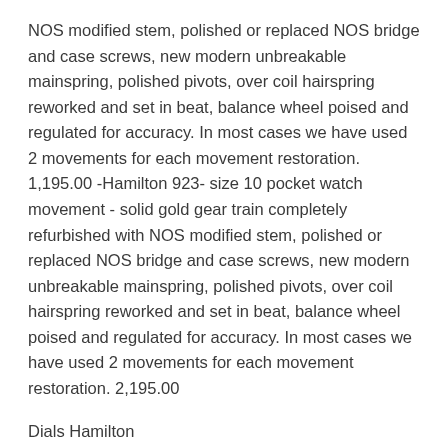NOS modified stem, polished or replaced NOS bridge and case screws, new modern unbreakable mainspring, polished pivots, over coil hairspring reworked and set in beat, balance wheel poised and regulated for accuracy. In most cases we have used 2 movements for each movement restoration. 1,195.00 -Hamilton 923- size 10 pocket watch movement - solid gold gear train completely refurbished with NOS modified stem, polished or replaced NOS bridge and case screws, new modern unbreakable mainspring, polished pivots, over coil hairspring reworked and set in beat, balance wheel poised and regulated for accuracy. In most cases we have used 2 movements for each movement restoration. 2,195.00
Dials Hamilton
-Ivory classic dial similar to an original Hamilton pocket watch print dating back to 1940 with gloss black enamel moon hand set.